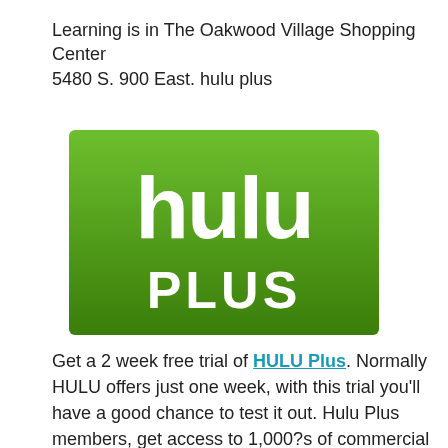Learning is in The Oakwood Village Shopping Center 5480 S. 900 East. hulu plus
[Figure (logo): Hulu Plus logo — green gradient rectangle with white lowercase 'hulu' text on top and white uppercase 'PLUS' text below]
Get a 2 week free trial of HULU Plus. Normally HULU offers just one week, with this trial you'll have a good chance to test it out. Hulu Plus members, get access to 1,000?s of commercial free movies and TV episodes. Watch as many as you like, there is no limit. After your trial period the cost is $7.99 per month. There is no further obligation, you can cancel